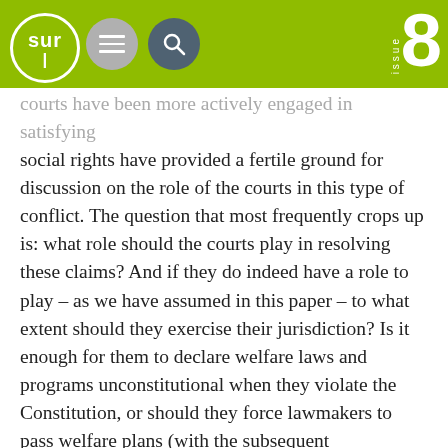sur | issue 8
courts have been more actively engaged in satisfying social rights have provided a fertile ground for discussion on the role of the courts in this type of conflict. The question that most frequently crops up is: what role should the courts play in resolving these claims? And if they do indeed have a role to play – as we have assumed in this paper – to what extent should they exercise their jurisdiction? Is it enough for them to declare welfare laws and programs unconstitutional when they violate the Constitution, or should they force lawmakers to pass welfare plans (with the subsequent rearrangement of fiscal resources)? And should the latter be the case, should the courts interfere in the development of these plans, for instance by monitoring the work of ministries and parliaments? These are questions that